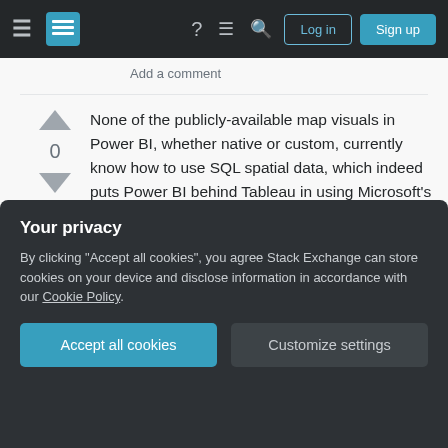Stack Exchange navigation bar with Log in and Sign up buttons
Add a comment
None of the publicly-available map visuals in Power BI, whether native or custom, currently know how to use SQL spatial data, which indeed puts Power BI behind Tableau in using Microsoft's own technology. You have to use either locations at various levels (typically country, US state) or latitude/longitude. I'm including ArcGIS and Mapbox, with which I have a lot of experience (I'm a Power BI guy doing a fair amount of mapping.) With the Mapbox visual you
Your privacy
By clicking "Accept all cookies", you agree Stack Exchange can store cookies on your device and disclose information in accordance with our Cookie Policy.
Accept all cookies
Customize settings
data and WKT. Source, the very end of this video.